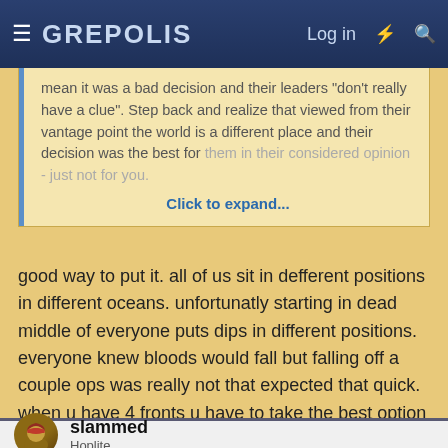≡ GREPOLIS  Log in ⚡ 🔍
mean it was a bad decision and their leaders "don't really have a clue". Step back and realize that viewed from their vantage point the world is a different place and their decision was the best for them in their considered opinion - just not for you.
Click to expand...
good way to put it. all of us sit in defferent positions in different oceans. unfortunatly starting in dead middle of everyone puts dips in different positions. everyone knew bloods would fall but falling off a couple ops was really not that expected that quick. when u have 4 fronts u have to take the best option at the time to lead u to the end.
BrandonCroaks
slammed
Hoplite